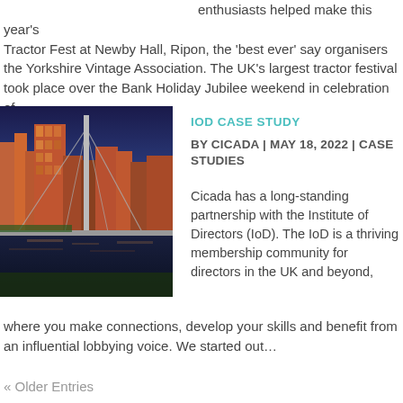enthusiasts helped make this year's Tractor Fest at Newby Hall, Ripon, the 'best ever' say organisers the Yorkshire Vintage Association. The UK's largest tractor festival took place over the Bank Holiday Jubilee weekend in celebration of…
[Figure (photo): Night cityscape showing a suspension bridge and illuminated modern buildings reflected in a river, likely Leeds waterfront.]
IOD CASE STUDY
BY CICADA | MAY 18, 2022 | CASE STUDIES
Cicada has a long-standing partnership with the Institute of Directors (IoD). The IoD is a thriving membership community for directors in the UK and beyond, where you make connections, develop your skills and benefit from an influential lobbying voice. We started out…
« Older Entries